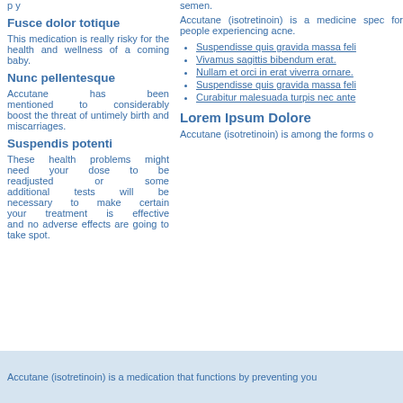semen.
Fusce dolor totique
This medication is really risky for the health and wellness of a coming baby.
Nunc pellentesque
Accutane has been mentioned to considerably boost the threat of untimely birth and miscarriages.
Suspendis potenti
These health problems might need your dose to be readjusted or some additional tests will be necessary to make certain your treatment is effective and no adverse effects are going to take spot.
semen.
Accutane (isotretinoin) is a medicine spec for people experiencing acne.
Suspendisse quis gravida massa feli
Vivamus sagittis bibendum erat.
Nullam et orci in erat viverra ornare.
Suspendisse quis gravida massa feli
Curabitur malesuada turpis nec ante
Lorem Ipsum Dolore
Accutane (isotretinoin) is among the forms o
Accutane (isotretinoin) is a medication that functions by preventing you